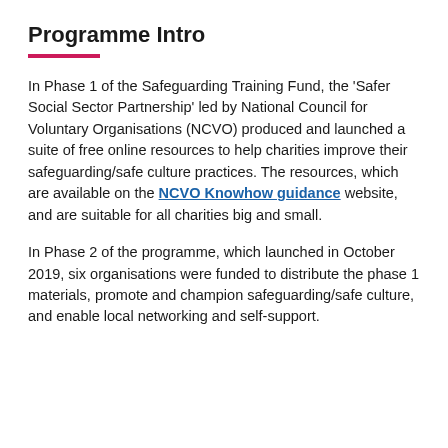Programme Intro
In Phase 1 of the Safeguarding Training Fund, the 'Safer Social Sector Partnership' led by National Council for Voluntary Organisations (NCVO) produced and launched a suite of free online resources to help charities improve their safeguarding/safe culture practices. The resources, which are available on the NCVO Knowhow guidance website, and are suitable for all charities big and small.
In Phase 2 of the programme, which launched in October 2019, six organisations were funded to distribute the phase 1 materials, promote and champion safeguarding/safe culture, and enable local networking and self-support.